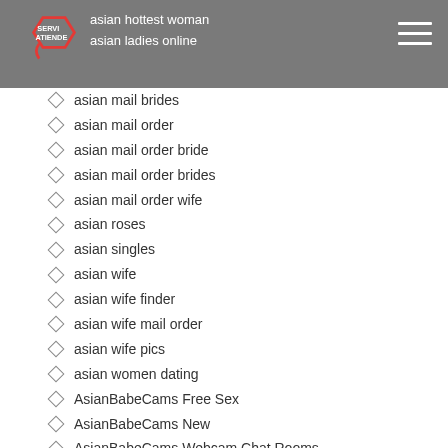asian hottest woman | asian ladies online | SERVI ATIENDE logo
asian mail brides
asian mail order
asian mail order bride
asian mail order brides
asian mail order wife
asian roses
asian singles
asian wife
asian wife finder
asian wife mail order
asian wife pics
asian women dating
AsianBabeCams Free Sex
AsianBabeCams New
AsianBabeCams Webcam Chat Rooms
AsianBabeCams XXX Cam Chat Rooms